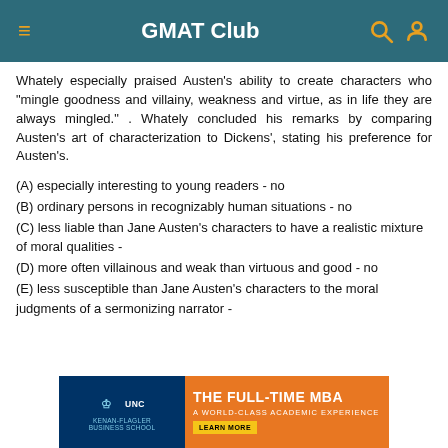GMAT Club
Whately especially praised Austen's ability to create characters who "mingle goodness and villainy, weakness and virtue, as in life they are always mingled." . Whately concluded his remarks by comparing Austen's art of characterization to Dickens', stating his preference for Austen's.
(A) especially interesting to young readers - no
(B) ordinary persons in recognizably human situations - no
(C) less liable than Jane Austen's characters to have a realistic mixture of moral qualities -
(D) more often villainous and weak than virtuous and good - no
(E) less susceptible than Jane Austen's characters to the moral judgments of a sermonizing narrator -
[Figure (other): UNC Kenan-Flagler Business School advertisement banner: THE FULL-TIME MBA - A WORLD-CLASS ACADEMIC EXPERIENCE with LEARN MORE button]